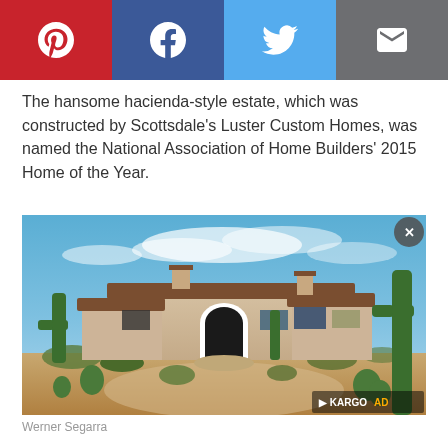[Figure (other): Social share bar with Pinterest, Facebook, Twitter, and Email buttons]
The hansome hacienda-style estate, which was constructed by Scottsdale's Luster Custom Homes, was named the National Association of Home Builders' 2015 Home of the Year.
[Figure (photo): Exterior photo of a hacienda-style estate home in a desert landscape with cacti, warm stucco walls, tile roof, arched entrance, and blue sky. Watermark reads KARGO AD in lower right.]
Werner Segarra